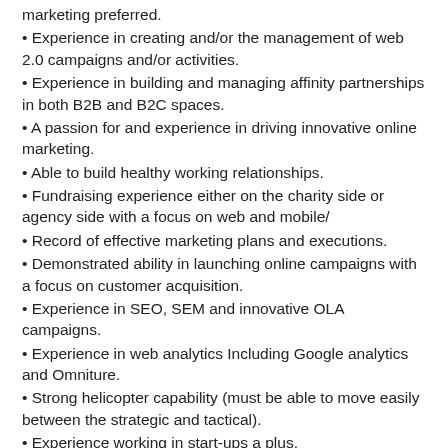marketing preferred.
• Experience in creating and/or the management of web 2.0 campaigns and/or activities.
• Experience in building and managing affinity partnerships in both B2B and B2C spaces.
• A passion for and experience in driving innovative online marketing.
• Able to build healthy working relationships.
• Fundraising experience either on the charity side or agency side with a focus on web and mobile/
• Record of effective marketing plans and executions.
• Demonstrated ability in launching online campaigns with a focus on customer acquisition.
• Experience in SEO, SEM and innovative OLA campaigns.
• Experience in web analytics Including Google analytics and Omniture.
• Strong helicopter capability (must be able to move easily between the strategic and tactical).
• Experience working in start-ups a plus.
• Must understand and embrace metrics.
This is an opportunity for a highly motivated and strategic marketer to help create, launch and build a new online bank.